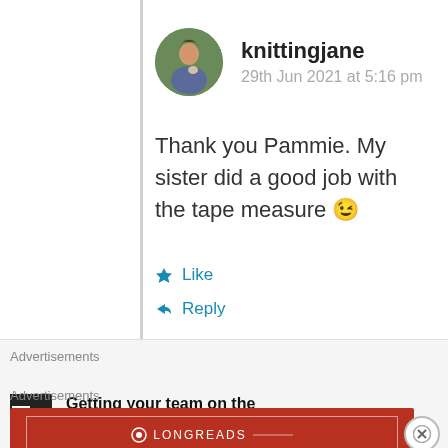knittingjane
29th Jun 2021 at 5:16 pm
Thank you Pammie. My sister did a good job with the tape measure 😉
Like
Reply
Advertisements
[Figure (illustration): Longreads advertisement banner in dark red with white border and text: LONGREADS - The best stories on the web – ours, and everyone else's.]
Advertisements
[Figure (logo): P2 logo - black square with grid icon and P2 text]
Getting your team on the same page is easy. And free.